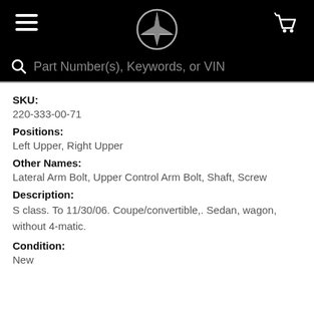[Figure (logo): Mercedes-Benz website header with hamburger menu, Mercedes-Benz star logo, and shopping cart icon on black background, with a search bar below reading 'Part Number(s), Keywords, or VIN']
SKU:
220-333-00-71
Positions:
Left Upper, Right Upper
Other Names:
Lateral Arm Bolt, Upper Control Arm Bolt, Shaft, Screw
Description:
S class. To 11/30/06. Coupe/convertible,. Sedan, wagon, without 4-matic.
Condition:
New